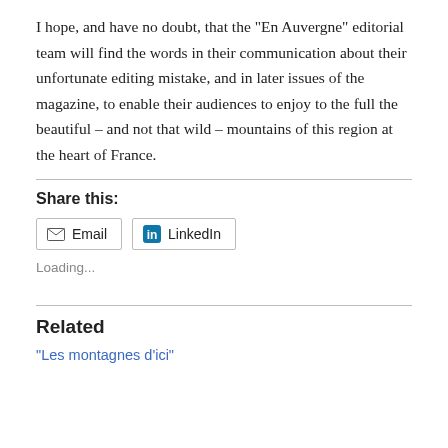I hope, and have no doubt, that the “En Auvergne” editorial team will find the words in their communication about their unfortunate editing mistake, and in later issues of the magazine, to enable their audiences to enjoy to the full the beautiful – and not that wild – mountains of this region at the heart of France.
Share this:
Email  LinkedIn
Loading...
Related
“Les montagnes d’ici”